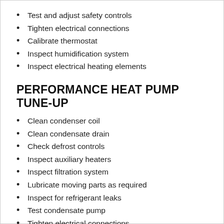Test and adjust safety controls
Tighten electrical connections
Calibrate thermostat
Inspect humidification system
Inspect electrical heating elements
PERFORMANCE HEAT PUMP TUNE-UP
Clean condenser coil
Clean condensate drain
Check defrost controls
Inspect auxiliary heaters
Inspect filtration system
Lubricate moving parts as required
Inspect for refrigerant leaks
Test condensate pump
Tighten electrical connections
Test starting capabilities
Measure air temperature differential
Monitor refrigerant pressure